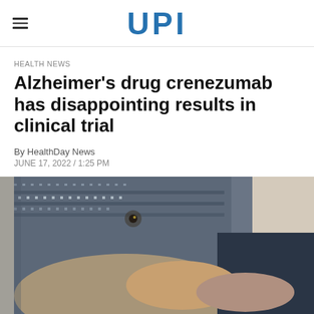UPI
HEALTH NEWS
Alzheimer's drug crenezumab has disappointing results in clinical trial
By HealthDay News
JUNE 17, 2022 / 1:25 PM
[Figure (photo): Close-up photo of two people holding hands, one wearing a patterned knit sweater, the other in a dark jacket, suggesting an elderly person being comforted or assisted.]